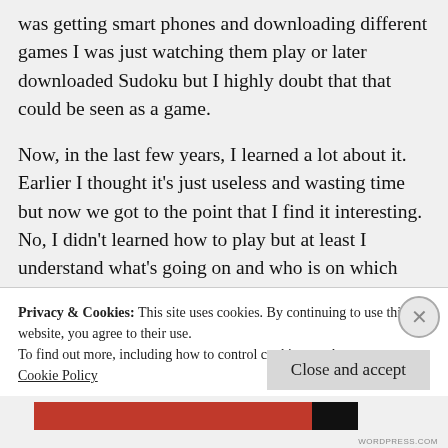was getting smart phones and downloading different games I was just watching them play or later downloaded Sudoku but I highly doubt that that could be seen as a game.
Now, in the last few years, I learned a lot about it. Earlier I thought it's just useless and wasting time but now we got to the point that I find it interesting. No, I didn't learned how to play but at least I understand what's going on and who is on which side. I don't have to ask a
Privacy & Cookies: This site uses cookies. By continuing to use this website, you agree to their use.
To find out more, including how to control cookies, see here:
Cookie Policy
Close and accept